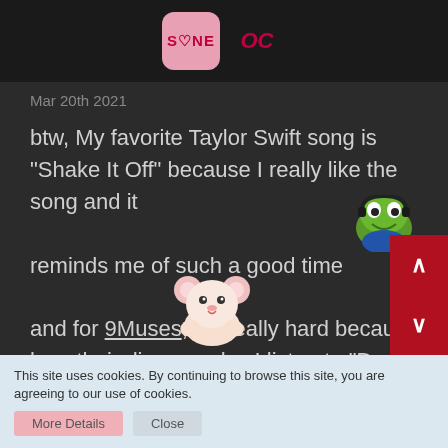[Figure (screenshot): Top image bar showing two badges: SONE badge (pink rounded square) and OC badge (dark rounded square with red italic text)]
Mar 20th 2021
btw, My favorite Taylor Swift song is "Shake It Off" because I really like the song and it

reminds me of such a good time

and for 9Muses, it's really hard because I love their discography. I listen to "Drama" often

these days
This site uses cookies. By continuing to browse this site, you are agreeing to our use of cookies.
More Details   Close